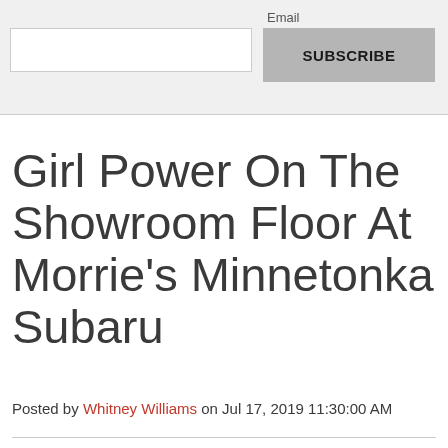Email SUBSCRIBE
Girl Power On The Showroom Floor At Morrie's Minnetonka Subaru
Posted by Whitney Williams on Jul 17, 2019 11:30:00 AM